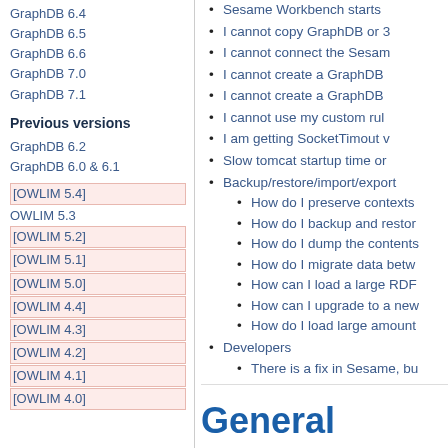GraphDB 6.4
GraphDB 6.5
GraphDB 6.6
GraphDB 7.0
GraphDB 7.1
Previous versions
GraphDB 6.2
GraphDB 6.0 & 6.1
[OWLIM 5.4]
OWLIM 5.3
[OWLIM 5.2]
[OWLIM 5.1]
[OWLIM 5.0]
[OWLIM 4.4]
[OWLIM 4.3]
[OWLIM 4.2]
[OWLIM 4.1]
[OWLIM 4.0]
Sesame Workbench starts
I cannot copy GraphDB or 3
I cannot connect the Sesam
I cannot create a GraphDB
I cannot create a GraphDB
I cannot use my custom rul
I am getting SocketTimout v
Slow tomcat startup time or
Backup/restore/import/export
How do I preserve contexts
How do I backup and restor
How do I dump the contents
How do I migrate data betw
How can I load a large RDF
How can I upgrade to a new
How do I load large amount
Developers
There is a fix in Sesame, bu
General
What is GraphDB?
GraphDB is a sematic repository - a softw Storage and Inference Layer (SAIL) for th